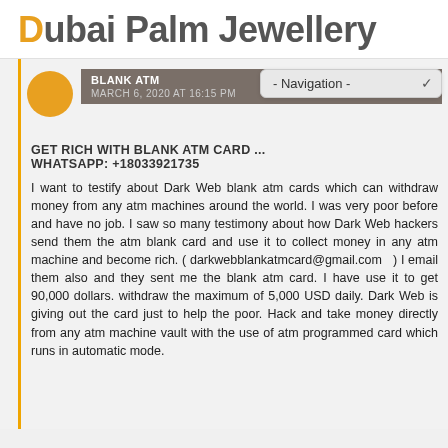Dubai Palm Jewellery
[Figure (screenshot): Website comment/post screenshot showing a navigation dropdown and a post about blank ATM cards]
GET RICH WITH BLANK ATM CARD ... Whatsapp: +18033921735
I want to testify about Dark Web blank atm cards which can withdraw money from any atm machines around the world. I was very poor before and have no job. I saw so many testimony about how Dark Web hackers send them the atm blank card and use it to collect money in any atm machine and become rich. ( darkwebblankatmcard@gmail.com ) I email them also and they sent me the blank atm card. I have use it to get 90,000 dollars. withdraw the maximum of 5,000 USD daily. Dark Web is giving out the card just to help the poor. Hack and take money directly from any atm machine vault with the use of atm programmed card which runs in automatic mode.